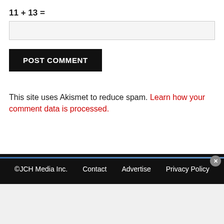11 + 13 =
This site uses Akismet to reduce spam. Learn how your comment data is processed.
©JCH Media Inc.   Contact   Advertise   Privacy Policy